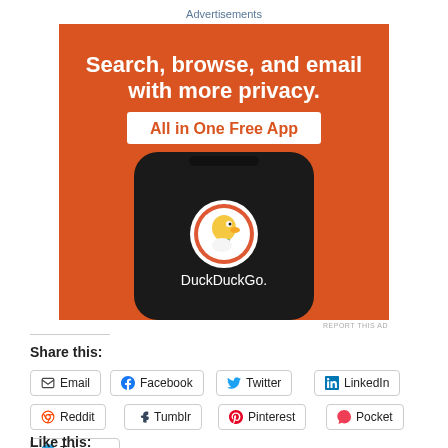Advertisements
[Figure (other): DuckDuckGo advertisement banner showing a smartphone with DuckDuckGo app. Text reads: Search, browse, and email with more privacy. All in One Free App. DuckDuckGo logo visible on phone screen.]
REPORT THIS AD
Share this:
Email
Facebook
Twitter
LinkedIn
Print
Reddit
Tumblr
Pinterest
Pocket
Telegram
WhatsApp
Skype
Like this: